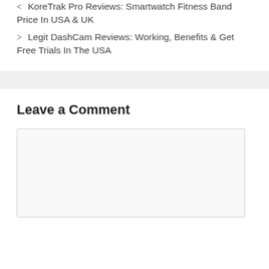< KoreTrak Pro Reviews: Smartwatch Fitness Band Price In USA & UK
> Legit DashCam Reviews: Working, Benefits & Get Free Trials In The USA
Leave a Comment